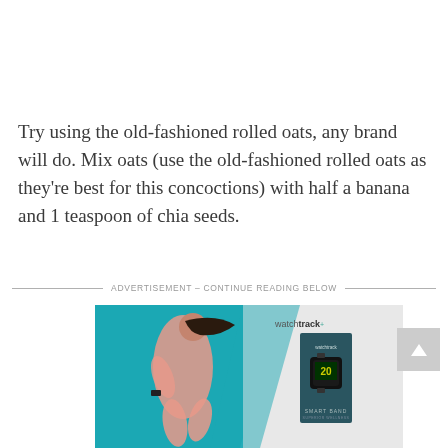Try using the old-fashioned rolled oats, any brand will do. Mix oats (use the old-fashioned rolled oats as they're best for this concoctions) with half a banana and 1 teaspoon of chia seeds.
——— ADVERTISEMENT – CONTINUE READING BELOW ———
[Figure (photo): Advertisement image for WatchTrack smart band, showing a woman in a pink athletic top running, with the product box displaying a smart band on the right side against a teal background.]